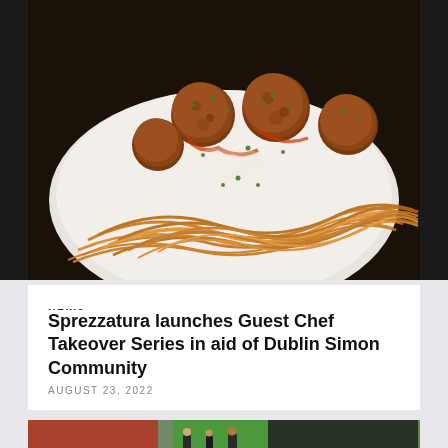[Figure (photo): A plate of spaghetti and meatballs topped with grated parmesan cheese and fresh herb garnish, served on a white plate against a dark background.]
NEWS
Sprezzatura launches Guest Chef Takeover Series in aid of Dublin Simon Community
AUGUST 23, 2022
[Figure (photo): People at an outdoor food market or festival event, with tents and crowd visible in the background.]